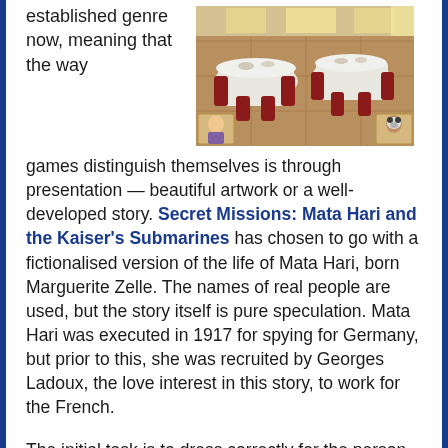established genre now, meaning that the way
[Figure (photo): Interior photo of a restaurant or cafe scene with round tables covered in white tablecloths, red chairs, and tiled floor. Small character portraits visible in lower corners of the image.]
games distinguish themselves is through presentation — beautiful artwork or a well-developed story. Secret Missions: Mata Hari and the Kaiser's Submarines has chosen to go with a fictionalised version of the life of Mata Hari, born Marguerite Zelle. The names of real people are used, but the story itself is pure speculation. Mata Hari was executed in 1917 for spying for Germany, but prior to this, she was recruited by Georges Ladoux, the love interest in this story, to work for the French.
The initial task is to dress correctly for the person you're going to meet. Have a look at your contacts book — you'll gain some useful hints on what kind of